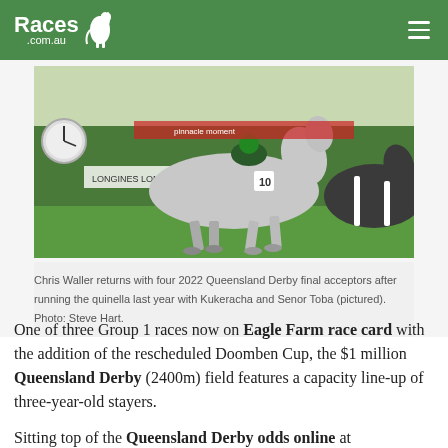Races.com.au
[Figure (photo): A grey horse with jockey wearing green and red silks racing at a track with Longines advertising boards, another dark horse visible at right edge. Green hedge background.]
Chris Waller returns with four 2022 Queensland Derby final acceptors after running the quinella last year with Kukeracha and Senor Toba (pictured). Photo: Steve Hart.
One of three Group 1 races now on Eagle Farm race card with the addition of the rescheduled Doomben Cup, the $1 million Queensland Derby (2400m) field features a capacity line-up of three-year-old stayers.
Sitting top of the Queensland Derby odds online at